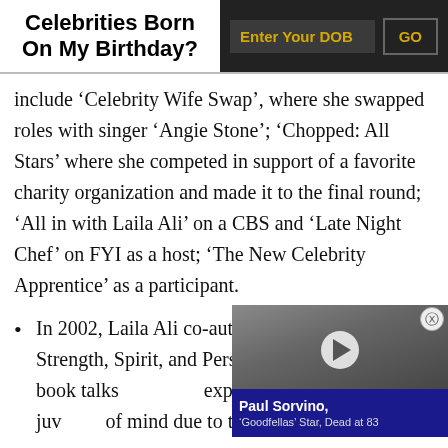Celebrities Born On My Birthday?
include ‘Celebrity Wife Swap’, where she swapped roles with singer ‘Angie Stone’; ‘Chopped: All Stars’ where she competed in support of a favorite charity organization and made it to the final round; ‘All in with Laila Ali’ on a CBS and ‘Late Night Chef’ on FYI as a host; ‘The New Celebrity Apprentice’ as a participant.
In 2002, Laila Ali co-authored ‘Reach! Finding Strength, Spirit, and Perso… David Ritz. The book talks … experiences, her time in juv… of mind due to the celebrity…
[Figure (screenshot): Video thumbnail overlay showing Paul Sorvino with caption 'Paul Sorvino, ‘Goodfellas’ Star, Dead at 83']